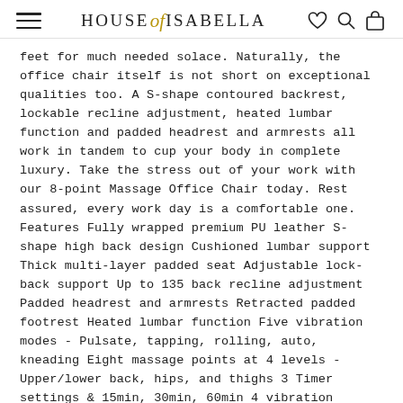HOUSE of ISABELLA
feet for much needed solace. Naturally, the office chair itself is not short on exceptional qualities too. A S-shape contoured backrest, lockable recline adjustment, heated lumbar function and padded headrest and armrests all work in tandem to cup your body in complete luxury. Take the stress out of your work with our 8-point Massage Office Chair today. Rest assured, every work day is a comfortable one. Features Fully wrapped premium PU leather S-shape high back design Cushioned lumbar support Thick multi-layer padded seat Adjustable lock-back support Up to 135 back recline adjustment Padded headrest and armrests Retracted padded footrest Heated lumbar function Five vibration modes - Pulsate, tapping, rolling, auto, kneading Eight massage points at 4 levels - Upper/lower back, hips, and thighs 3 Timer settings & 15min, 30min, 60min 4 vibration intensity levels 360 swivel Height adjustment Remote control Remote controller pouch Five dual-wheel castors SAA plug approval Specifications: Power: 240V/50Hz Power cable length: Approx 174cm Colour: